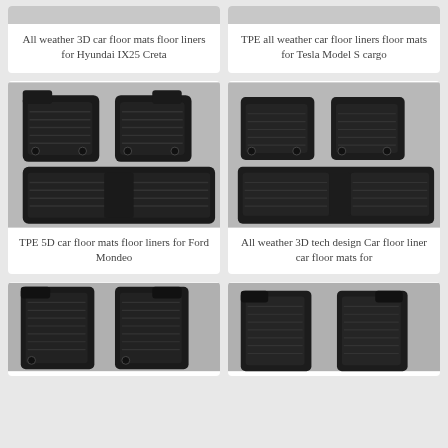[Figure (photo): Top-left product card: partial image of black car floor mats at top, cropped]
All weather 3D car floor mats floor liners for Hyundai IX25 Creta
[Figure (photo): Top-right product card: partial image of black car floor mats at top, cropped]
TPE all weather car floor liners floor mats for Tesla Model S cargo
[Figure (photo): Middle-left product card: black TPE 5D car floor mats set for Ford Mondeo showing front and rear mats]
TPE 5D car floor mats floor liners for Ford Mondeo
[Figure (photo): Middle-right product card: black 3D tech design car floor mats set showing front and rear mats]
All weather 3D tech design Car floor liner car floor mats for
[Figure (photo): Bottom-left product card: black car floor mats set, partially visible]
[Figure (photo): Bottom-right product card: black car floor mats set, partially visible]